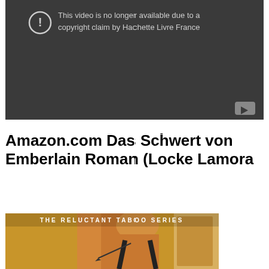[Figure (screenshot): YouTube video player showing error message: 'This video is no longer available due to a copyright claim by Hachette Livre France' on dark background with YouTube play button icon in bottom right corner.]
Amazon.com Das Schwert von Emberlain Roman (Locke Lamora
[Figure (photo): Book cover image showing 'THE RELUCTANT TABOO SERIES' text at top with a figure in the background.]